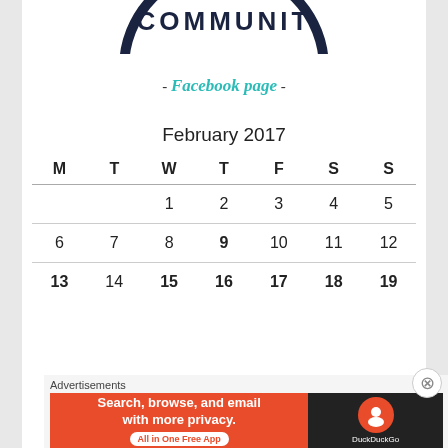[Figure (logo): Partial circular community logo/badge in dark navy blue, cropped at top]
- Facebook page -
| M | T | W | T | F | S | S |
| --- | --- | --- | --- | --- | --- | --- |
|  |  | 1 | 2 | 3 | 4 | 5 |
| 6 | 7 | 8 | 9 | 10 | 11 | 12 |
| 13 | 14 | 15 | 16 | 17 | 18 | 19 |
February 2017
[Figure (screenshot): DuckDuckGo advertisement banner: orange left section with text 'Search, browse, and email with more privacy. All in One Free App' and dark right section with DuckDuckGo logo]
Advertisements